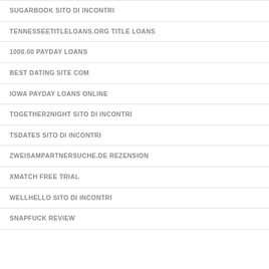SUGARBOOK SITO DI INCONTRI
TENNESSEETITLELOANS.ORG TITLE LOANS
1000.00 PAYDAY LOANS
BEST DATING SITE COM
IOWA PAYDAY LOANS ONLINE
TOGETHER2NIGHT SITO DI INCONTRI
TSDATES SITO DI INCONTRI
ZWEISAMPARTNERSUCHE.DE REZENSION
XMATCH FREE TRIAL
WELLHELLO SITO DI INCONTRI
SNAPFUCK REVIEW